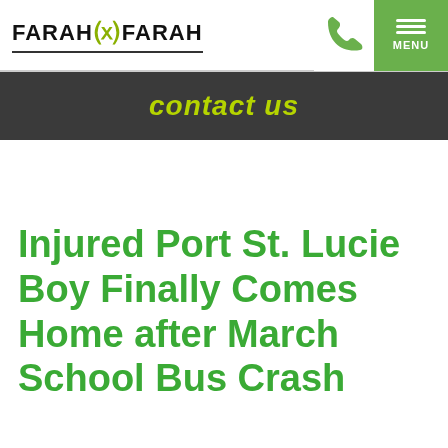FARAH & FARAH | contact us
Injured Port St. Lucie Boy Finally Comes Home after March School Bus Crash